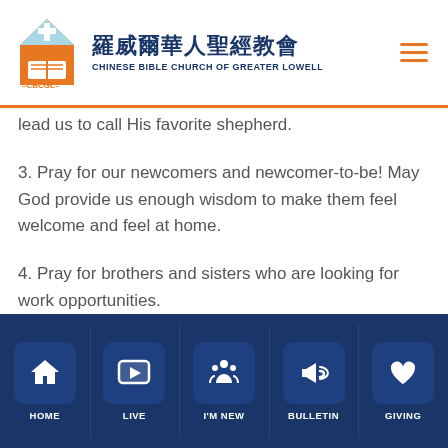[Figure (logo): Chinese Bible Church of Greater Lowell logo with Chinese characters 羅威爾華人聖經教會 and CBCGL wordmark]
lead us to call His favorite shepherd.
3. Pray for our newcomers and newcomer-to-be! May God provide us enough wisdom to make them feel welcome and feel at home.
4. Pray for brothers and sisters who are looking for work opportunities.
[Figure (screenshot): Footer navigation bar with HOME, LIVE, I'M NEW, BULLETIN, GIVING buttons on dark navy background]